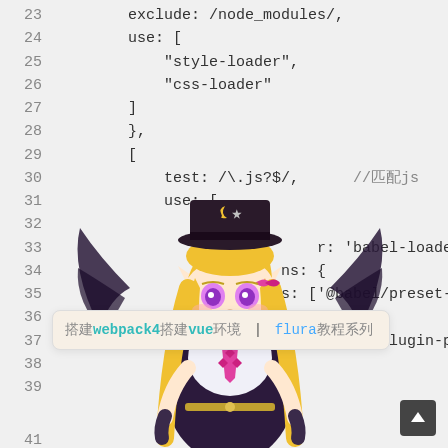[Figure (screenshot): Code editor screenshot showing webpack configuration JavaScript code, lines 23-42, with a tooltip overlay showing 'webpack4搭建vue环境 | flura教程系列' and an anime character (blonde girl with bat wings and top hat) overlaid in the lower portion. A scroll-to-top button is visible in the bottom right.]